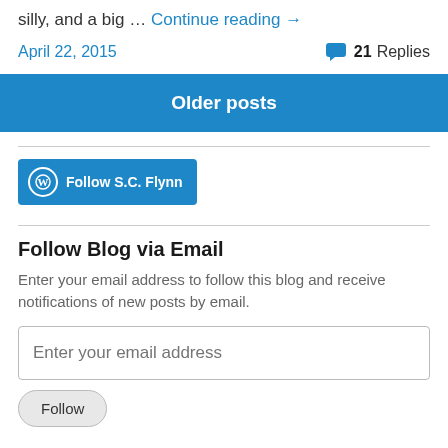silly, and a big … Continue reading →
April 22, 2015   21 Replies
Older posts
[Figure (other): WordPress Follow button: Follow S.C. Flynn]
Follow Blog via Email
Enter your email address to follow this blog and receive notifications of new posts by email.
Enter your email address
Follow